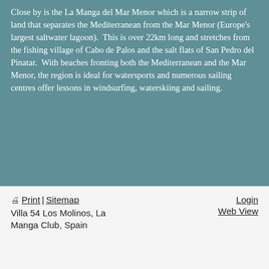Close by is the La Manga del Mar Menor which is a narrow strip of land that separates the Mediterranean from the Mar Menor (Europe's largest saltwater lagoon).  This is over 22km long and stretches from the fishing village of Cabo de Palos and the salt flats of San Pedro del Pinatar.  With beaches fronting both the Mediterranean and the Mar Menor, the region is ideal for watersports and numerous sailing centres offer lessons in windsurfing, waterskiing and sailing.
🖨 Print | Sitemap   Login   Web View   Villa 54 Los Molinos, La Manga Club, Spain